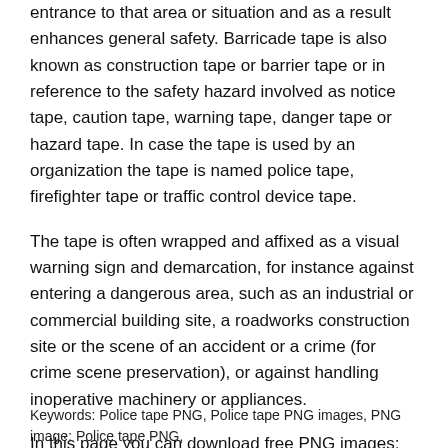entrance to that area or situation and as a result enhances general safety. Barricade tape is also known as construction tape or barrier tape or in reference to the safety hazard involved as notice tape, caution tape, warning tape, danger tape or hazard tape. In case the tape is used by an organization the tape is named police tape, firefighter tape or traffic control device tape.
The tape is often wrapped and affixed as a visual warning sign and demarcation, for instance against entering a dangerous area, such as an industrial or commercial building site, a roadworks construction site or the scene of an accident or a crime (for crime scene preservation), or against handling inoperative machinery or appliances.
In this page you can download free PNG images: Police tape PNG images free download
Keywords: Police tape PNG, Police tape PNG images, PNG image: Police tape PNG,